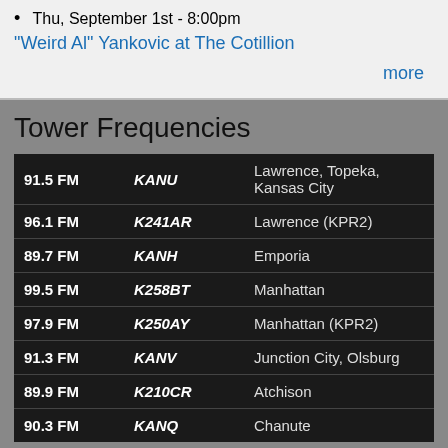Thu, September 1st - 8:00pm
"Weird Al" Yankovic at The Cotillion
more
Tower Frequencies
| Frequency | Call Sign | Location |
| --- | --- | --- |
| 91.5 FM | KANU | Lawrence, Topeka, Kansas City |
| 96.1 FM | K241AR | Lawrence (KPR2) |
| 89.7 FM | KANH | Emporia |
| 99.5 FM | K258BT | Manhattan |
| 97.9 FM | K250AY | Manhattan (KPR2) |
| 91.3 FM | KANV | Junction City, Olsburg |
| 89.9 FM | K210CR | Atchison |
| 90.3 FM | KANQ | Chanute |
See the Coverage Map for more details